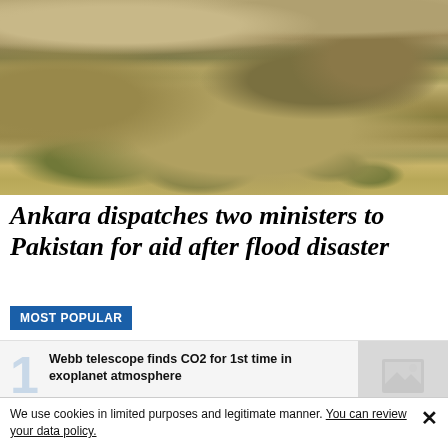[Figure (photo): Aerial photograph of flooded landscape in Pakistan showing muddy brown floodwater with submerged trees forming a curved line and partially submerged buildings/structures on higher ground]
Ankara dispatches two ministers to Pakistan for aid after flood disaster
MOST POPULAR
Webb telescope finds CO2 for 1st time in exoplanet atmosphere
We use cookies in limited purposes and legitimate manner. You can review your data policy.